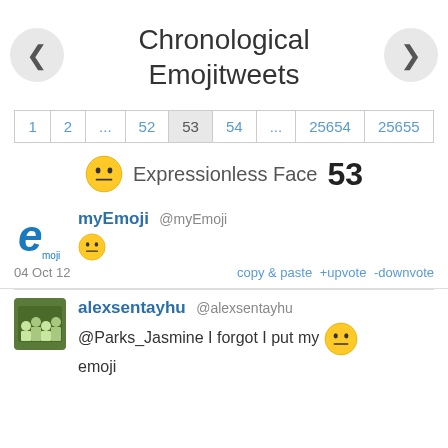Chronological Emojitweets
1  2  ...  52  53  54  ...  25654  25655
Expressionless Face  53
myEmoji @myEmoji  [expressionless face emoji]  04 Oct 12   copy & paste +upvote -downvote
alexsentayhu @alexsentayhu  @Parks_Jasmine I forgot I put my [expressionless face emoji] emoji